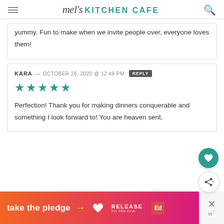mel's KITCHEN CAFE
yummy. Fun to make when we invite people over, everyone loves them!
KARA — OCTOBER 26, 2020 @ 12:49 PM [REPLY] ★★★★★ Perfection! Thank you for making dinners conquerable and something I look forward to! You are heaven sent.
[Figure (infographic): Banner advertisement: take the pledge with arrow pointing to RELEASE logo and Ed logo, with close button and W logo watermark on the right side]